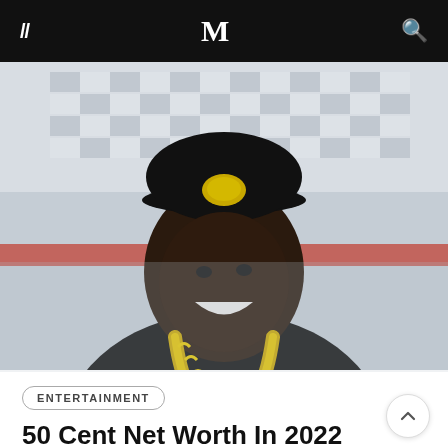M (logo navigation bar)
[Figure (photo): Man wearing black t-shirt, black baseball cap with gold emblem, and large gold Cuban link chain necklace, smiling, at what appears to be a stadium or racetrack venue]
ENTERTAINMENT
50 Cent Net Worth In 2022